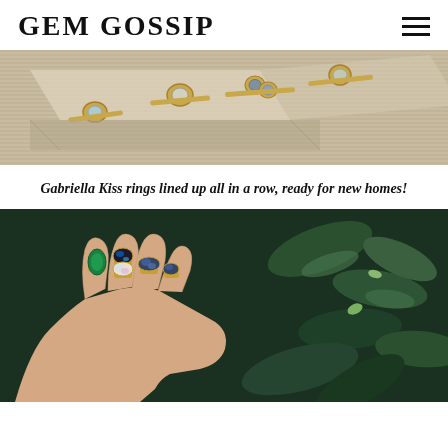GEM GOSSIP
[Figure (photo): Gold rings with gemstones lined up on a wooden/striped beige display block, viewed from above at an angle.]
Gabriella Kiss rings lined up all in a row, ready for new homes!
[Figure (photo): A hand wearing multiple gold rings set with colorful gemstones including green emerald teardrop, black opal, white opal, blue labradorite, against a background of green leaves.]